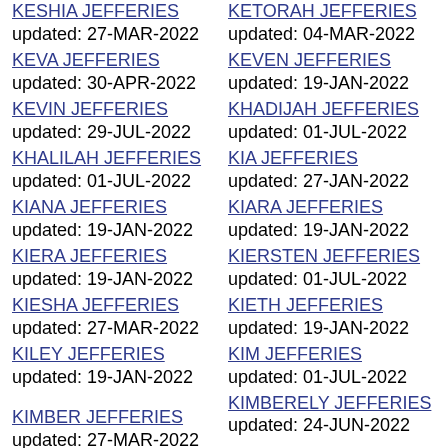KESHIA JEFFERIES updated: 27-MAR-2022
KETORAH JEFFERIES updated: 04-MAR-2022
KEVA JEFFERIES updated: 30-APR-2022
KEVEN JEFFERIES updated: 19-JAN-2022
KEVIN JEFFERIES updated: 29-JUL-2022
KHADIJAH JEFFERIES updated: 01-JUL-2022
KHALILAH JEFFERIES updated: 01-JUL-2022
KIA JEFFERIES updated: 27-JAN-2022
KIANA JEFFERIES updated: 19-JAN-2022
KIARA JEFFERIES updated: 19-JAN-2022
KIERA JEFFERIES updated: 19-JAN-2022
KIERSTEN JEFFERIES updated: 01-JUL-2022
KIESHA JEFFERIES updated: 27-MAR-2022
KIETH JEFFERIES updated: 19-JAN-2022
KILEY JEFFERIES updated: 19-JAN-2022
KIM JEFFERIES updated: 01-JUL-2022
KIMBER JEFFERIES updated: 27-MAR-2022
KIMBERELY JEFFERIES updated: 24-JUN-2022
KIMBERLEE
KIMBERLEY